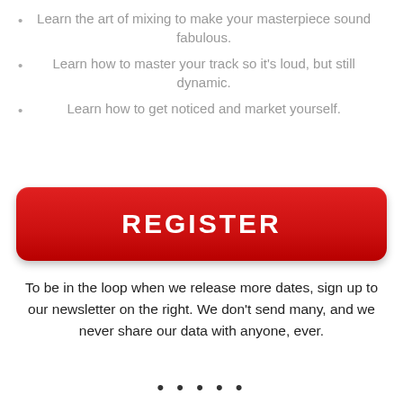Learn the art of mixing to make your masterpiece sound fabulous.
Learn how to master your track so it's loud, but still dynamic.
Learn how to get noticed and market yourself.
[Figure (other): Large red rounded rectangle button with white bold uppercase text REGISTER]
To be in the loop when we release more dates, sign up to our newsletter on the right. We don't send many, and we never share our data with anyone, ever.